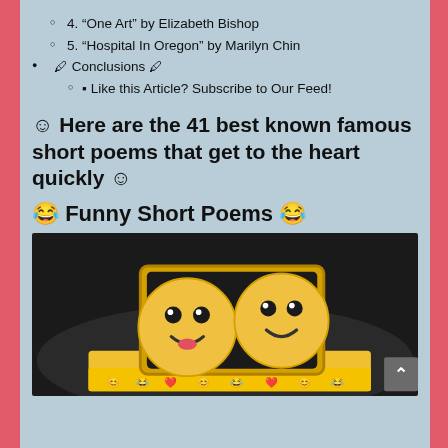4. “One Art” by Elizabeth Bishop
5. “Hospital In Oregon” by Marilyn Chin
🖊 Conclusions 🖊
▪ Like this Article? Subscribe to Our Feed!
☺ Here are the 41 best known famous short poems that get to the heart quickly ☺
😂 Funny Short Poems 😂
[Figure (photo): Two yellow smiley face plush toys inside a mirror/frame, set against a dark background]